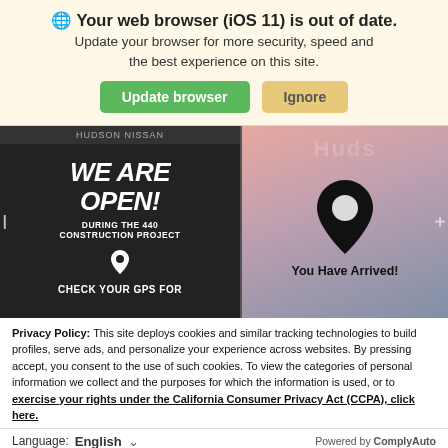Your web browser (iOS 11) is out of date. Update your browser for more security, speed and the best experience on this site.
[Figure (screenshot): Screenshot showing two panels: left panel on dark background with white text 'WE ARE OPEN! DURING THE 440 CONSTRUCTION PROJECT' with location pin icon and 'CHECK YOUR GPS FOR'; right panel showing location pin icon and text 'You Have Arrived!' on pink/glass background. 'Hudson' branding visible.]
Privacy Policy: This site deploys cookies and similar tracking technologies to build profiles, serve ads, and personalize your experience across websites. By pressing accept, you consent to the use of such cookies. To view the categories of personal information we collect and the purposes for which the information is used, or to exercise your rights under the California Consumer Privacy Act (CCPA), click here.
Language: English   ∨   Powered by ComplyAuto
Accept and Continue →   California Privacy Disclosures   X